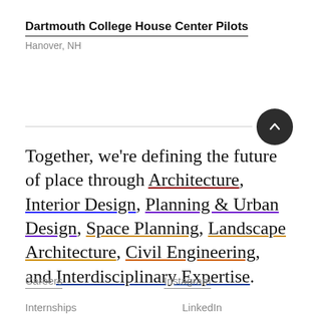Dartmouth College House Center Pilots
Hanover, NH
Together, we're defining the future of place through Architecture, Interior Design, Planning & Urban Design, Space Planning, Landscape Architecture, Civil Engineering, and Interdisciplinary Expertise.
Careers
Instagram
Internships
LinkedIn